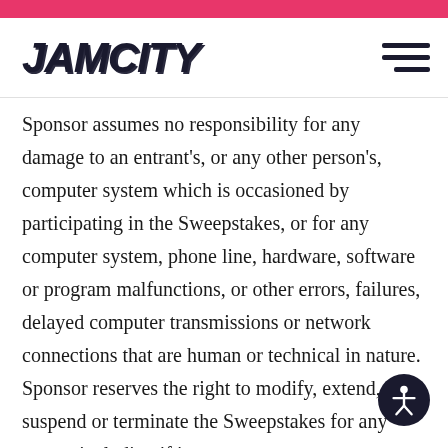JAMCITY
Sponsor assumes no responsibility for any damage to an entrant's, or any other person's, computer system which is occasioned by participating in the Sweepstakes, or for any computer system, phone line, hardware, software or program malfunctions, or other errors, failures, delayed computer transmissions or network connections that are human or technical in nature. Sponsor reserves the right to modify, extend, suspend or terminate the Sweepstakes for any reason including if it